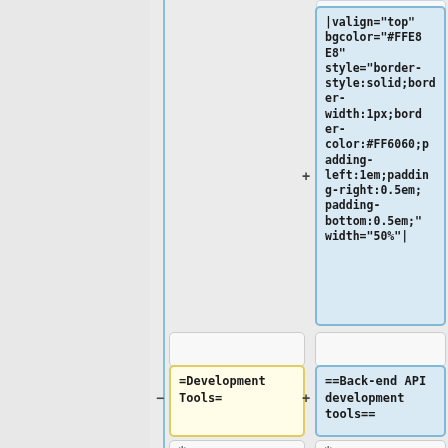|valign="top" bgcolor="#FFE8E8" style="border-style:solid;border-width:1px;border-color:#FF6060;padding-left:1em;padding-right:0.5em;padding-bottom:0.5em;" width="50%"|
=Development Tools=
==Back-end API development tools==
*
*